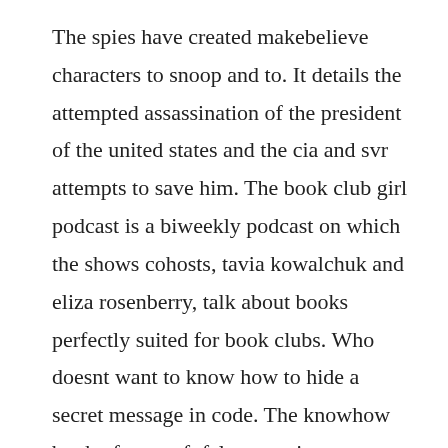The spies have created makebelieve characters to snoop and to. It details the attempted assassination of the president of the united states and the cia and svr attempts to save him. The book club girl podcast is a biweekly podcast on which the shows cohosts, tavia kowalchuk and eliza rosenberry, talk about books perfectly suited for book clubs. Who doesnt want to know how to hide a secret message in code. The knowhow book of spycraft falcon travis paperback. It is published by the alderac entertainment group.